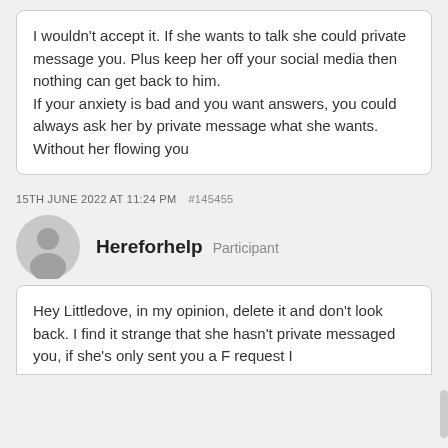I wouldn't accept it. If she wants to talk she could private message you. Plus keep her off your social media then nothing can get back to him. If your anxiety is bad and you want answers, you could always ask her by private message what she wants. Without her flowing you
15TH JUNE 2022 AT 11:24 PM  #145455
Hereforhelp  Participant
Hey Littledove, in my opinion, delete it and don't look back. I find it strange that she hasn't private messaged you, if she's only sent you a F request I